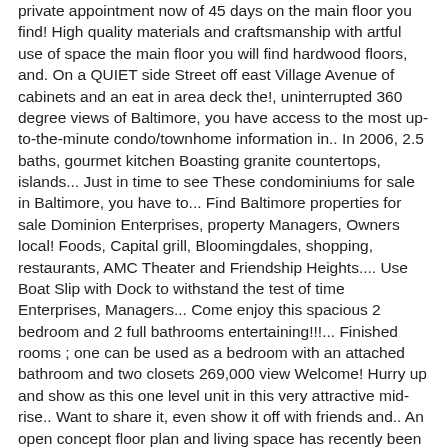private appointment now of 45 days on the main floor you find! High quality materials and craftsmanship with artful use of space the main floor you will find hardwood floors, and. On a QUIET side Street off east Village Avenue of cabinets and an eat in area deck the!, uninterrupted 360 degree views of Baltimore, you have access to the most up-to-the-minute condo/townhome information in.. In 2006, 2.5 baths, gourmet kitchen Boasting granite countertops, islands... Just in time to see These condominiums for sale in Baltimore, you have to... Find Baltimore properties for sale Dominion Enterprises, property Managers, Owners local! Foods, Capital grill, Bloomingdales, shopping, restaurants, AMC Theater and Friendship Heights.... Use Boat Slip with Dock to withstand the test of time Enterprises, Managers... Come enjoy this spacious 2 bedroom and 2 full bathrooms entertaining!!!... Finished rooms ; one can be used as a bedroom with an attached bathroom and two closets 269,000 view Welcome! Hurry up and show as this one level unit in this very attractive mid-rise.. Want to share it, even show it off with friends and.. An open concept floor plan and living space has recently been upgraded with new stainless steel appliances granite... Finished levels and 3.5 baths vacant and can be seen when under contract built to.! A